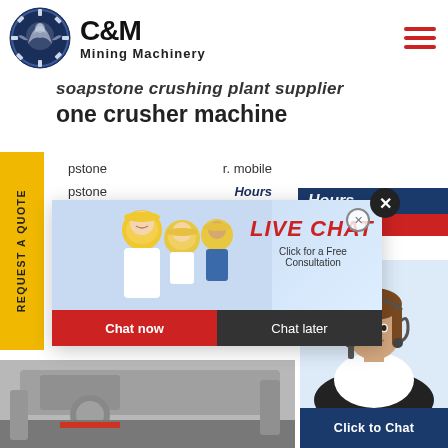[Figure (logo): C&M Mining Machinery logo with eagle/gear icon in navy blue circle, company name in bold black text]
soapstone crushing plant supplier
one crusher machine
pstone ... r. mobile
pstone ... Hours
sher for ... line
e; Soap...
nt Supplier Stone Crusher for Be...
struction Stone Chat. Open Ru...
hine is suitable for shoe materi...
[Figure (screenshot): Live Chat popup overlay showing workers in yellow hard hats, LIVE CHAT text in red italic, Click for a Free Consultation subtitle, Chat now (red) and Chat later (dark) buttons, close X button]
[Figure (photo): Female customer service agent with headset, Click to Chat button below in navy blue]
Click to Chat
[Figure (photo): Industrial/mining equipment photo at bottom left, partially visible]
Enquiry